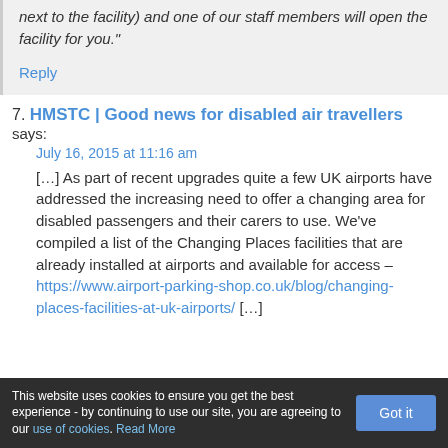next to the facility) and one of our staff members will open the facility for you."
Reply
7. HMSTC | Good news for disabled air travellers says:
July 16, 2015 at 11:16 am
[…] As part of recent upgrades quite a few UK airports have addressed the increasing need to offer a changing area for disabled passengers and their carers to use. We've compiled a list of the Changing Places facilities that are already installed at airports and available for access – https://www.airport-parking-shop.co.uk/blog/changing-places-facilities-at-uk-airports/ […]
This website uses cookies to ensure you get the best experience - by continuing to use our site, you are agreeing to our use of cookies. Read More